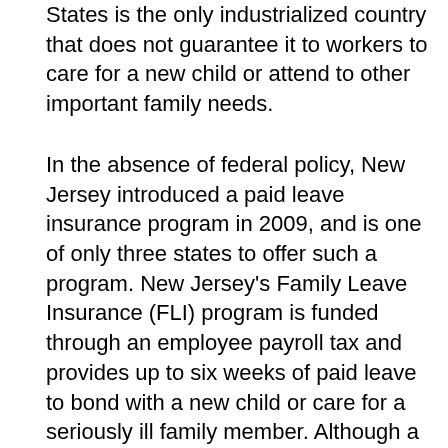States is the only industrialized country that does not guarantee it to workers to care for a new child or attend to other important family needs.
In the absence of federal policy, New Jersey introduced a paid leave insurance program in 2009, and is one of only three states to offer such a program. New Jersey's Family Leave Insurance (FLI) program is funded through an employee payroll tax and provides up to six weeks of paid leave to bond with a new child or care for a seriously ill family member. Although a limited body of research has examined public awareness and perceptions of FLI, employers' perspectives, and the impact of paid leave programs on economic and health outcomes in New Jersey, very little attention has been